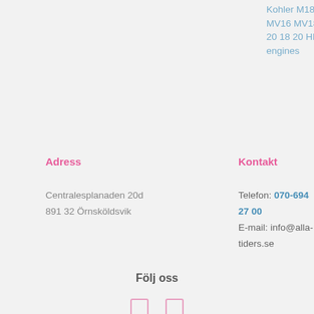Kohler M18 M20 MV16 MV18 MV 20 18 20 HP engines
Adress
Kontakt
Centralesplanaden 20d
891 32 Örnsköldsvik
Telefon: 070-694 27 00
E-mail: info@alla-tiders.se
Följ oss
[Figure (other): Two social media icon boxes (Facebook and Instagram) outlined in pink]
Om oss